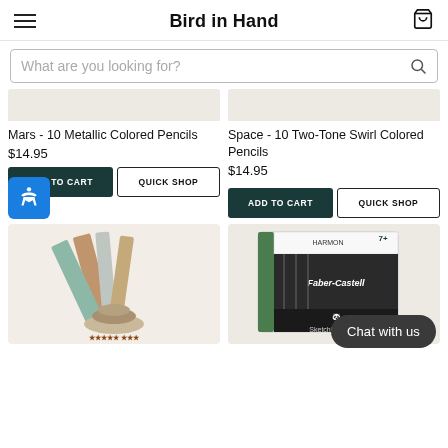Bird in Hand
What are you looking for?
Mars - 10 Metallic Colored Pencils
$14.95
Space - 10 Two-Tone Swirl Colored Pencils
$14.95
[Figure (screenshot): ADD TO CART and QUICK SHOP buttons for Mars pencils]
[Figure (screenshot): ADD TO CART and QUICK SHOP buttons for Space pencils]
[Figure (photo): Stacking Stones colored pencil product, partially visible]
[Figure (photo): Sketching Basics pencil set by Faber-Castell, partially visible]
Chat with us